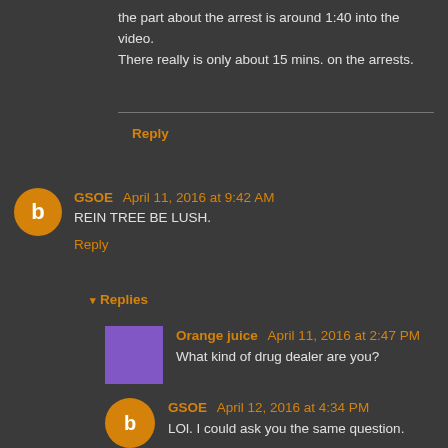the part about the arrest is around 1:40 into the video.
There really is only about 15 mins. on the arrests.
Reply
GSOE   April 11, 2016 at 9:42 AM
REIN TREE BE LUSH.
Reply
▾ Replies
Orange juice   April 11, 2016 at 2:47 PM
What kind of drug dealer are you?
GSOE   April 12, 2016 at 4:34 PM
LOl. I could ask you the same question.